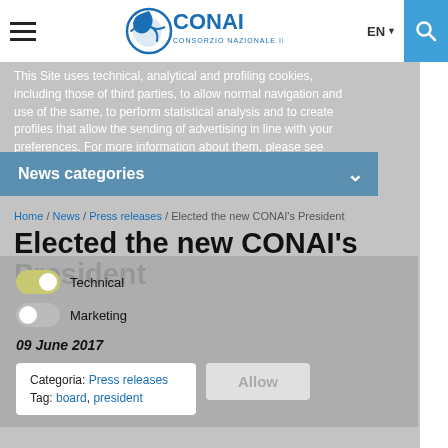CONAI - Consorzio Nazionale Imballaggi
This Site uses technical, analytical and profiling cookies, including those of third parties, to allow normal navigation and use of the same, to perform statistical analysis and to create profiles that allow the sending of advertising in line with your preferences. For more information about them, please see our Cookie Policy.
News categories
Home / News / Press releases / Elected the new CONAI's President
Elected the new CONAI's President
09 June 2017
Categoria: Press releases
Tag: board, president